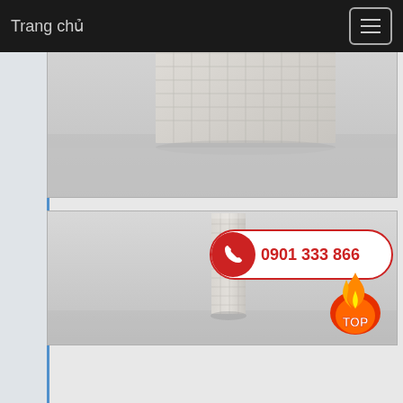Trang chủ
[Figure (photo): A wide short rectangular object with a grid-textured surface in light beige/grey color, photographed against a neutral grey background]
[Figure (photo): A tall narrow rectangular column/post with a grid-textured surface in light beige/grey color, photographed vertically against a neutral grey background. Overlaid with a phone contact badge showing 0901 333 866 and a TOP fire badge.]